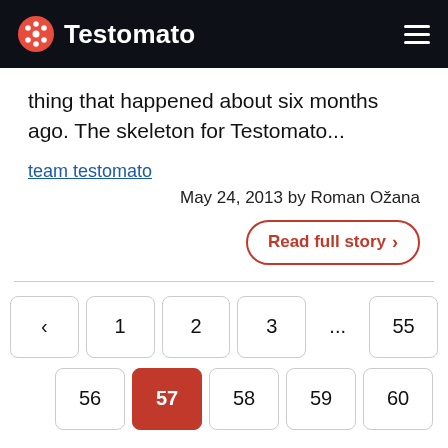Testomato
thing that happened about six months ago. The skeleton for Testomato...
team testomato
May 24, 2013 by Roman Ožana
Read full story >
< 1 2 3 ... 55
56 57 58 59 60